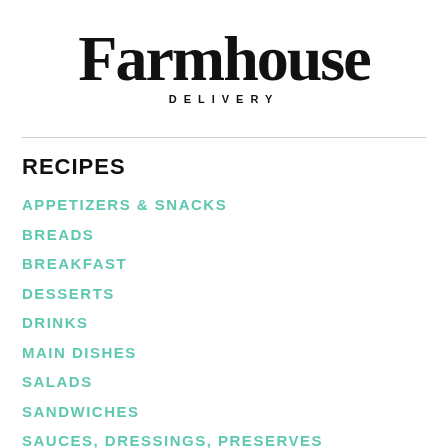[Figure (logo): Farmhouse Delivery logo with script text 'Farmhouse' and all-caps 'DELIVERY' underneath]
RECIPES
APPETIZERS & SNACKS
BREADS
BREAKFAST
DESSERTS
DRINKS
MAIN DISHES
SALADS
SANDWICHES
SAUCES, DRESSINGS, PRESERVES